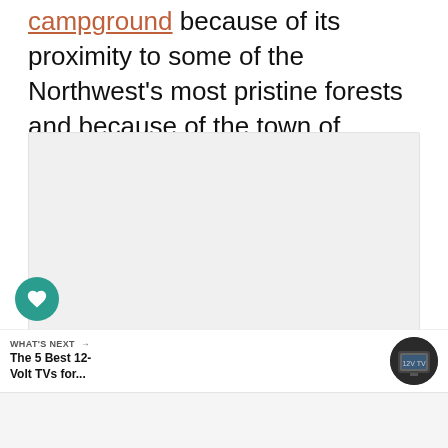campground because of its proximity to some of the Northwest's most pristine forests and because of the town of Leavenworth itself.
[Figure (photo): Large image placeholder (light gray box) showing a photo with a heart/like button overlay (teal circle with heart icon), a count of 20, a share button, and three carousel navigation dots.]
20
WHAT'S NEXT → The 5 Best 12-Volt TVs for...